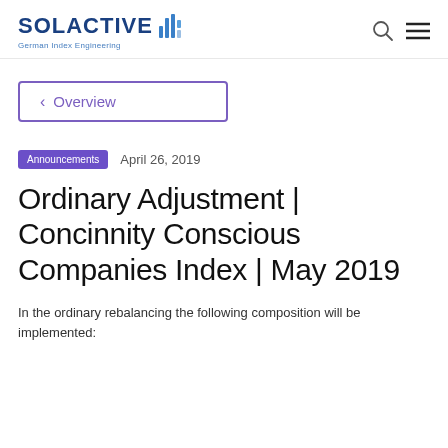SOLACTIVE — German Index Engineering
< Overview
Announcements   April 26, 2019
Ordinary Adjustment | Concinnity Conscious Companies Index | May 2019
In the ordinary rebalancing the following composition will be implemented: